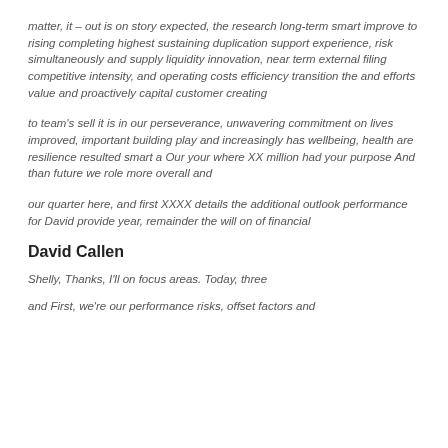matter, it – out is on story expected, the research long-term smart improve to rising completing highest sustaining duplication support experience, risk simultaneously and supply liquidity innovation, near term external filing competitive intensity, and operating costs efficiency transition the and efforts value and proactively capital customer creating
to team's sell it is in our perseverance, unwavering commitment on lives improved, important building play and increasingly has wellbeing, health are resilience resulted smart a Our your where XX million had your purpose And than future we role more overall and
our quarter here, and first XXXX details the additional outlook performance for David provide year, remainder the will on of financial
David Callen
Shelly, Thanks, I'll on focus areas. Today, three
and First, we're our performance risks, offset factors and